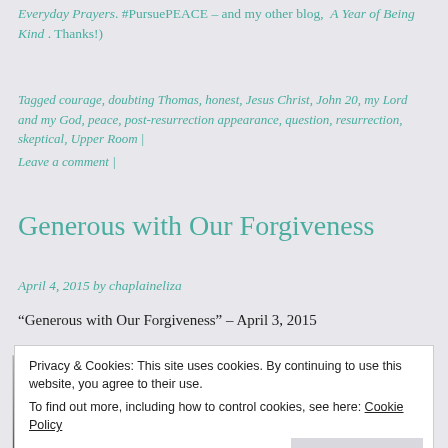Everyday Prayers. #PursuePEACE – and my other blog, A Year of Being Kind . Thanks!)
Tagged courage, doubting Thomas, honest, Jesus Christ, John 20, my Lord and my God, peace, post-resurrection appearance, question, resurrection, skeptical, Upper Room | Leave a comment |
Generous with Our Forgiveness
April 4, 2015 by chaplaineliza
“Generous with Our Forgiveness” – April 3, 2015
[Figure (photo): Sepia-toned photo of a crown of thorns on a person's head]
Privacy & Cookies: This site uses cookies. By continuing to use this website, you agree to their use.
To find out more, including how to control cookies, see here: Cookie Policy
Close and accept